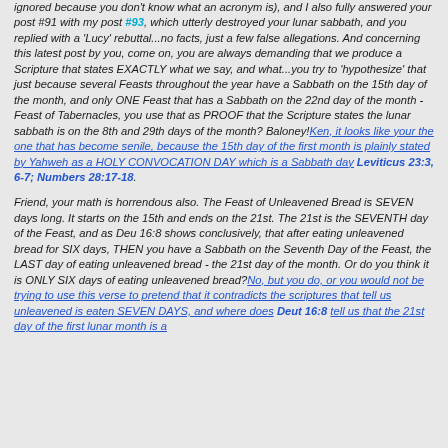ignored because you don't know what an acronym is), and I also fully answered your post #91 with my post #93, which utterly destroyed your lunar sabbath, and you replied with a 'Lucy' rebuttal...no facts, just a few false allegations. And concerning this latest post by you, come on, you are always demanding that we produce a Scripture that states EXACTLY what we say, and what...you try to 'hypothesize' that just because several Feasts throughout the year have a Sabbath on the 15th day of the month, and only ONE Feast that has a Sabbath on the 22nd day of the month - Feast of Tabernacles, you use that as PROOF that the Scripture states the lunar sabbath is on the 8th and 29th days of the month? Baloney!Ken, it looks like your the one that has become senile, because the 15th day of the first month is plainly stated by Yahweh as a HOLY CONVOCATION DAY which is a Sabbath day Leviticus 23:3, 6-7; Numbers 28:17-18.
Friend, your math is horrendous also. The Feast of Unleavened Bread is SEVEN days long. It starts on the 15th and ends on the 21st. The 21st is the SEVENTH day of the Feast, and as Deu 16:8 shows conclusively, that after eating unleavened bread for SIX days, THEN you have a Sabbath on the Seventh Day of the Feast, the LAST day of eating unleavened bread - the 21st day of the month. Or do you think it is ONLY SIX days of eating unleavened bread?No, but you do, or you would not be trying to use this verse to pretend that it contradicts the scriptures that tell us unleavened is eaten SEVEN DAYS, and where does Deut 16:8 tell us that the 21st day of the first lunar month is a